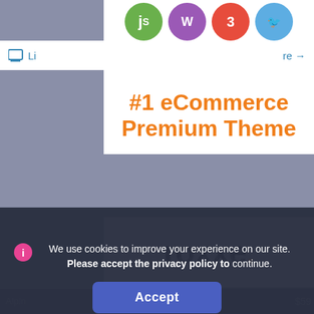[Figure (screenshot): Website screenshot showing a theme marketplace page with technology icons (jQuery, WordPress, CSS3, etc.) at the top of a white center card.]
#1 eCommerce Premium Theme
[Figure (logo): roxxe. logo in bold black text with an orange period]
We use cookies to improve your experience on our site. Please accept the privacy policy to continue.
Accept